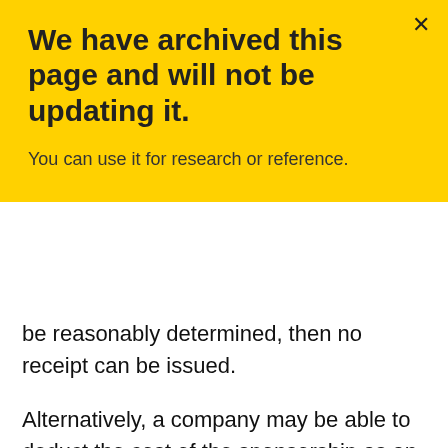We have archived this page and will not be updating it.
You can use it for research or reference.
be reasonably determined, then no receipt can be issued.
Alternatively, a company may be able to deduct the cost of the sponsorship as an advertising expense to the extent it was incurred to earn income and as long as the